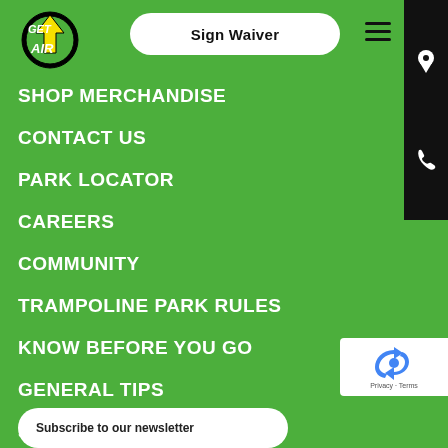[Figure (logo): Get Air trampoline park logo with yellow lightning bolt arrow]
Sign Waiver
SHOP MERCHANDISE
CONTACT US
PARK LOCATOR
CAREERS
COMMUNITY
TRAMPOLINE PARK RULES
KNOW BEFORE YOU GO
GENERAL TIPS
SURVEY
PARTY INVITATIONS
Subscribe to our newsletter